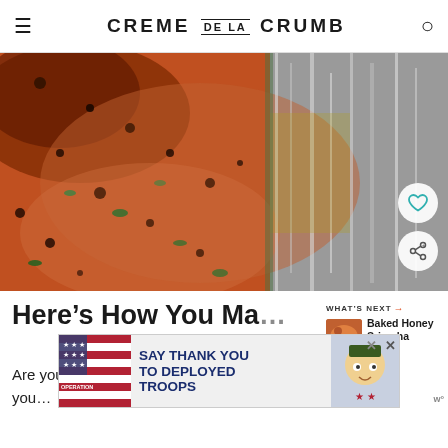CREME DE LA CRUMB
[Figure (photo): Close-up photo of glazed baked salmon with herbs in a foil-lined baking dish, showing caramelized crust with dark spots and green herb garnish]
Here’s How You Ma…
[Figure (photo): Small thumbnail of Baked Honey Sriracha Lim... recipe]
Are you ready to bake up the best baked salmon of you…
[Figure (infographic): Advertisement banner: SAY THANK YOU TO DEPLOYED TROOPS - Operation Gratitude]